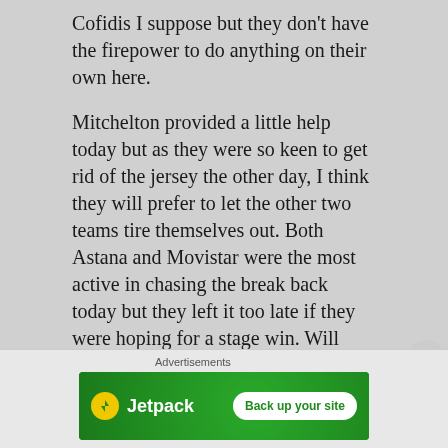Cofidis I suppose but they don't have the firepower to do anything on their own here.
Mitchelton provided a little help today but as they were so keen to get rid of the jersey the other day, I think they will prefer to let the other two teams tire themselves out. Both Astana and Movistar were the most active in chasing the break back today but they left it too late if they were hoping for a stage win. Will they make the same mistake tomorrow or will they just let the break go and save their energy?
Possibly the latter, again, for like what seems the umpteenth day in a row!
Advertisements
[Figure (other): Jetpack advertisement banner with logo and 'Back up your site' button on green background]